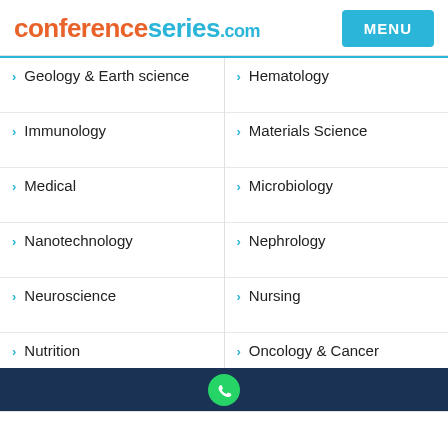conferenceseries.com
Geology & Earth science
Hematology
Immunology
Materials Science
Medical
Microbiology
Nanotechnology
Nephrology
Neuroscience
Nursing
Nutrition
Oncology & Cancer
Orthopedics
Pathology
Pediatrics
Pharma
Pharma Marketing & Industry
Pharmaceutical Sciences
Physics
WhatsApp icon footer